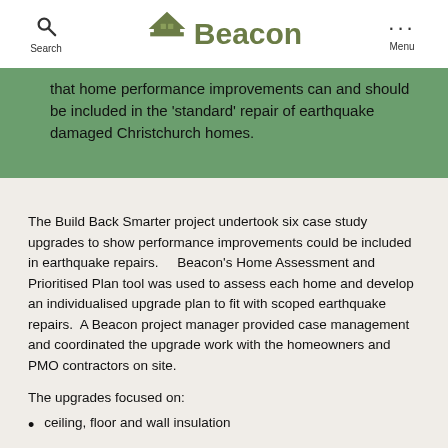Search | Beacon | Menu
that home performance improvements can and should be included in the 'standard' repair of earthquake damaged Christchurch homes.
The Build Back Smarter project undertook six case study upgrades to show performance improvements could be included in earthquake repairs.    Beacon's Home Assessment and Prioritised Plan tool was used to assess each home and develop an individualised upgrade plan to fit with scoped earthquake repairs.  A Beacon project manager provided case management and coordinated the upgrade work with the homeowners and PMO contractors on site.
The upgrades focused on:
ceiling, floor and wall insulation